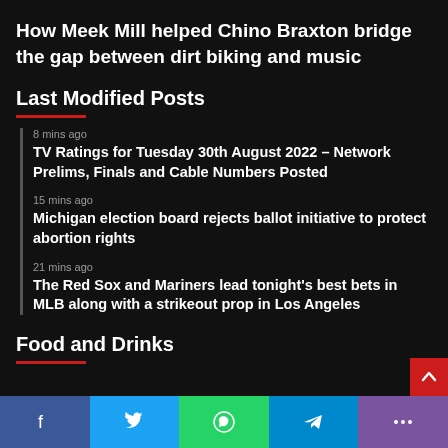How Meek Mill helped Chino Braxton bridge the gap between dirt biking and music
Last Modified Posts
8 mins ago
TV Ratings for Tuesday 30th August 2022 – Network Prelims, Finals and Cable Numbers Posted
15 mins ago
Michigan election board rejects ballot initiative to protect abortion rights
21 mins ago
The Red Sox and Mariners lead tonight's best bets in MLB along with a strikeout prop in Los Angeles
Food and Drinks